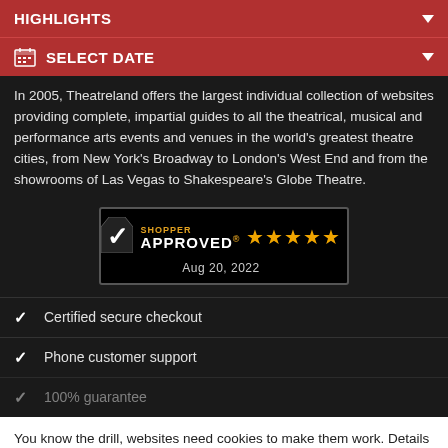HIGHLIGHTS
SELECT DATE
In 2005, Theatreland offers the largest individual collection of websites providing complete, impartial guides to all the theatrical, musical and performance arts events and venues in the world's greatest theatre cities, from New York's Broadway to London's West End and from the showrooms of Las Vegas to Shakespeare's Globe Theatre.
[Figure (other): Shopper Approved badge with 4.5 stars rating and date Aug 20, 2022]
Certified secure checkout
Phone customer support
100% guarantee
You know the drill, websites need cookies to make them work. Details of how we do it here.
Got it!